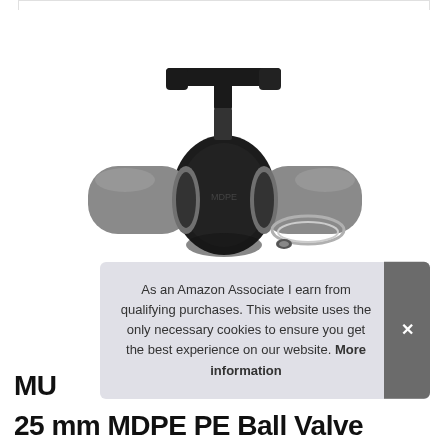[Figure (photo): A 25mm MDPE PE Ball Valve with grey compression fittings on both ends and a black lever handle on top, shown on a white background.]
As an Amazon Associate I earn from qualifying purchases. This website uses the only necessary cookies to ensure you get the best experience on our website. More information
MU
25 mm MDPE PE Ball Valve